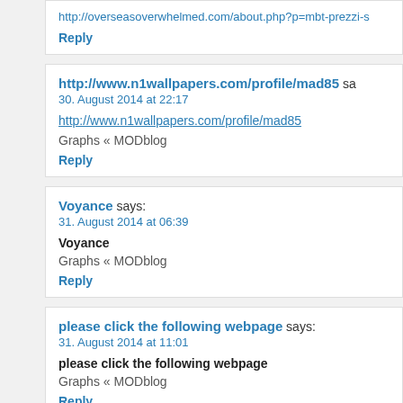http://overseasoverwhelmed.com/about.php?p=mbt-prezzi-s
Reply
http://www.n1wallpapers.com/profile/mad85 says: 30. August 2014 at 22:17
http://www.n1wallpapers.com/profile/mad85
Graphs « MODblog
Reply
Voyance says: 31. August 2014 at 06:39
Voyance
Graphs « MODblog
Reply
please click the following webpage says: 31. August 2014 at 11:01
please click the following webpage
Graphs « MODblog
Reply